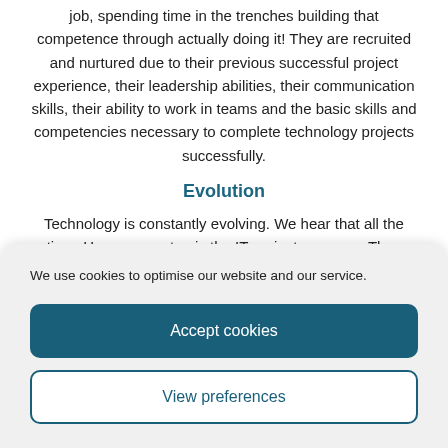job, spending time in the trenches building that competence through actually doing it! They are recruited and nurtured due to their previous successful project experience, their leadership abilities, their communication skills, their ability to work in teams and the basic skills and competencies necessary to complete technology projects successfully.
Evolution
Technology is constantly evolving. We hear that all the time. However, so too is the IT project manager. They grow with the latest tech, software, practices
We use cookies to optimise our website and our service.
Accept cookies
View preferences